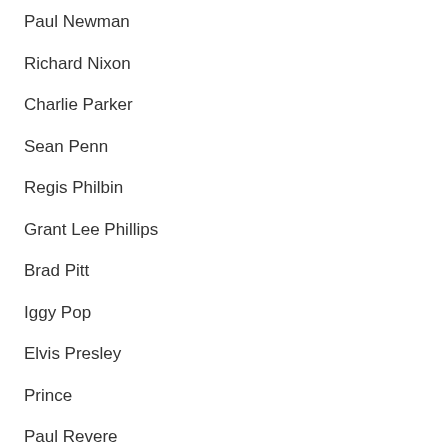Paul Newman
Richard Nixon
Charlie Parker
Sean Penn
Regis Philbin
Grant Lee Phillips
Brad Pitt
Iggy Pop
Elvis Presley
Prince
Paul Revere
J.D. Salinger
William Shakespeare